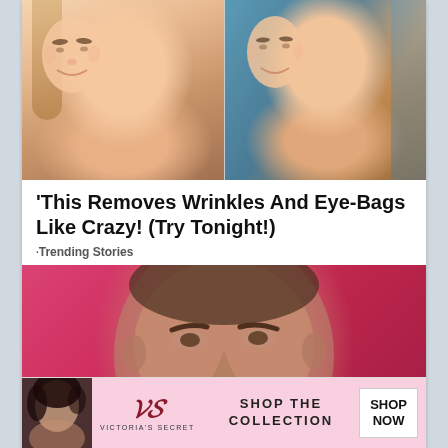[Figure (photo): Side-by-side before/after photos of a smiling blonde woman, showing facial comparison]
'This Removes Wrinkles And Eye-Bags Like Crazy! (Try Tonight!)
·Trending Stories
[Figure (photo): Photo of a dark-haired man with furrowed brows against a pink background]
CLOSE
[Figure (infographic): Victoria's Secret advertisement banner: SHOP THE COLLECTION with SHOP NOW button]